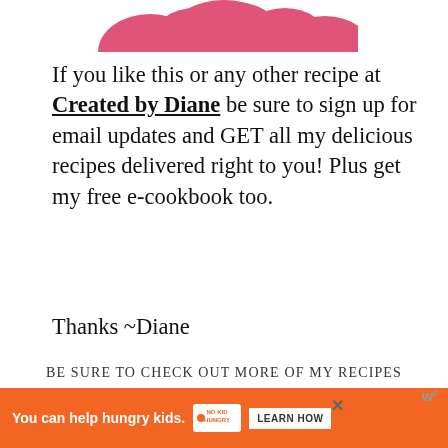[Figure (illustration): Pink decorative cloud/logo shape at top of page, partially cropped]
If you like this or any other recipe at Created by Diane be sure to sign up for email updates and GET all my delicious recipes delivered right to you! Plus get my free e-cookbook too.
Thanks ~Diane
BE SURE TO CHECK OUT MORE OF MY RECIPES HERE...
[Figure (photo): Strip of six food photos showing various cookies and baked goods]
[Figure (other): Advertisement bar: 'You can help hungry kids.' No Kid Hungry logo with LEARN HOW button, orange background]